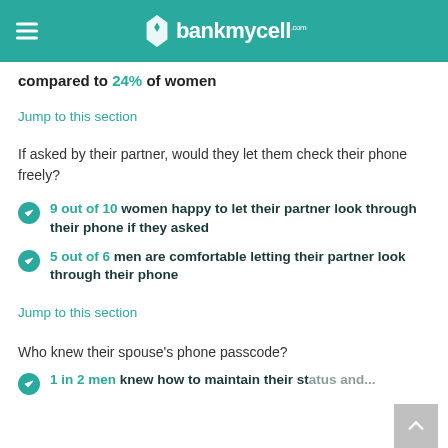bankmycell
compared to 24% of women
Jump to this section
If asked by their partner, would they let them check their phone freely?
9 out of 10 women happy to let their partner look through their phone if they asked
5 out of 6 men are comfortable letting their partner look through their phone
Jump to this section
Who knew their spouse's phone passcode?
1 in 2 men knew how to maintain their status and...